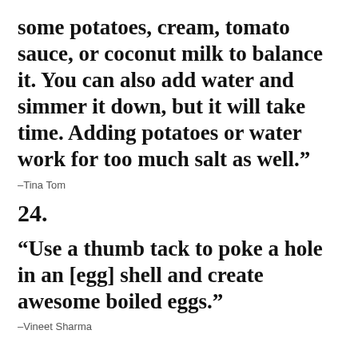some potatoes, cream, tomato sauce, or coconut milk to balance it. You can also add water and simmer it down, but it will take time. Adding potatoes or water work for too much salt as well.”
–Tina Tom
24.
“Use a thumb tack to poke a hole in an [egg] shell and create awesome boiled eggs.”
–Vineet Sharma